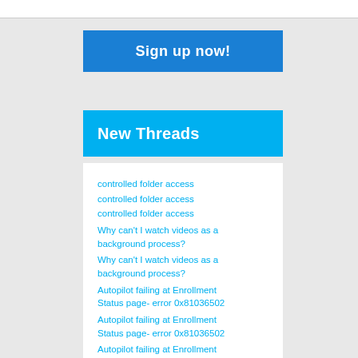[Figure (screenshot): Top white navigation bar area]
[Figure (screenshot): Blue 'Sign up now!' button]
New Threads
controlled folder access
controlled folder access
controlled folder access
Why can't I watch videos as a background process?
Why can't I watch videos as a background process?
Autopilot failing at Enrollment Status page- error 0x81036502
Autopilot failing at Enrollment Status page- error 0x81036502
Autopilot failing at Enrollment Status page- error 0x81036502